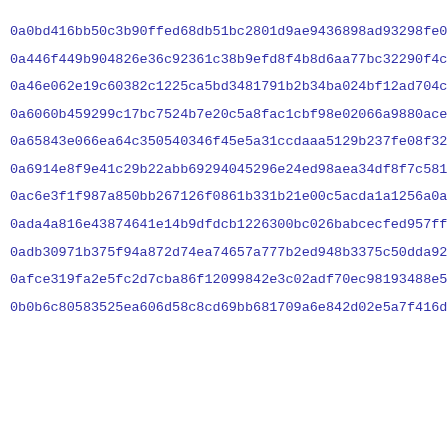0a0bd416bb50c3b90ffed68db51bc2801d9ae9436898ad93298fe04c6262c
0a446f449b904826e36c92361c38b9efd8f4b8d6aa77bc32290f4c839c9be
0a46e062e19c60382c1225ca5bd3481791b2b34ba024bf12ad704c83cd438
0a6060b459299c17bc7524b7e20c5a8fac1cbf98e02066a9880ace2511bf9
0a65843e066ea64c350540346f45e5a31ccdaaa5129b237fe08f321eb8003
0a6914e8f9e41c29b22abb69294045296e24ed98aea34df8f7c58132d4d24
0ac6e3f1f987a850bb267126f0861b331b21e00c5acda1a1256a0a672b6e5
0ada4a816e43874641e14b9dfdcb1226300bc026babcecfed957ff0a9cd10
0adb30971b375f94a872d74ea74657a777b2ed948b3375c50dda92bb11374
0afce319fa2e5fc2d7cba86f12099842e3c02adf70ec98193488e52e77ae3
0b0b6c80583525ea606d58c8cd69bb681709a6e842d02e5a7f416d2abc602